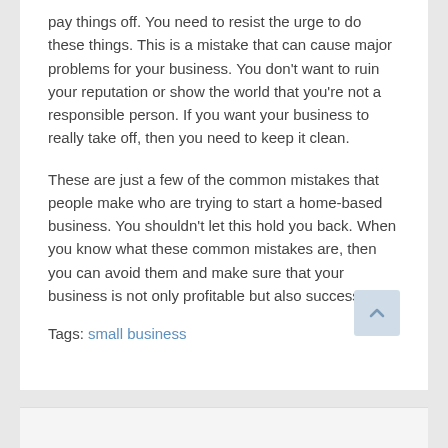pay things off. You need to resist the urge to do these things. This is a mistake that can cause major problems for your business. You don't want to ruin your reputation or show the world that you're not a responsible person. If you want your business to really take off, then you need to keep it clean.
These are just a few of the common mistakes that people make who are trying to start a home-based business. You shouldn't let this hold you back. When you know what these common mistakes are, then you can avoid them and make sure that your business is not only profitable but also successful.
Tags: small business